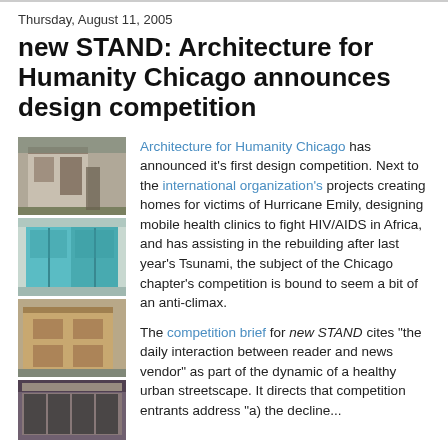Thursday, August 11, 2005
new STAND: Architecture for Humanity Chicago announces design competition
[Figure (photo): Four stacked photos of news stands / street vendor structures: a shed-like structure, turquoise doors, a brown box kiosk, and a storefront.]
Architecture for Humanity Chicago has announced it's first design competition. Next to the international organization's projects creating homes for victims of Hurricane Emily, designing mobile health clinics to fight HIV/AIDS in Africa, and has assisting in the rebuilding after last year's Tsunami, the subject of the Chicago chapter's competition is bound to seem a bit of an anti-climax.

The competition brief for new STAND cites "the daily interaction between reader and news vendor" as part of the dynamic of a healthy urban streetscape. It directs that competition entrants address "a) the decline...